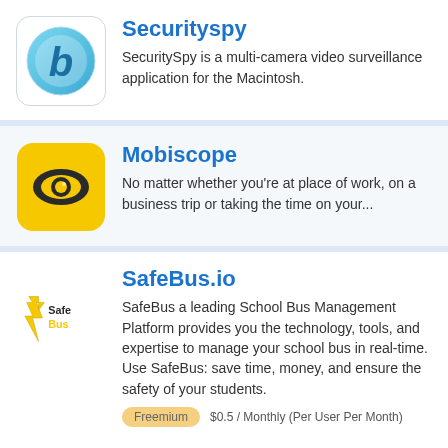[Figure (logo): Securityspy app logo - circular blue/teal letter B on white background with rounded square border]
Securityspy
SecuritySpy is a multi-camera video surveillance application for the Macintosh.
[Figure (logo): Mobiscope app logo - yellow rounded square with a dark eye/camera icon in center]
Mobiscope
No matter whether you're at place of work, on a business trip or taking the time on your...
[Figure (logo): SafeBus logo - lightning bolt shield icon with 'SafeBus' text in yellow and black]
SafeBus.io
SafeBus a leading School Bus Management Platform provides you the technology, tools, and expertise to manage your school bus in real-time. Use SafeBus: save time, money, and ensure the safety of your students.
Freemium    $0.5 / Monthly (Per User Per Month)